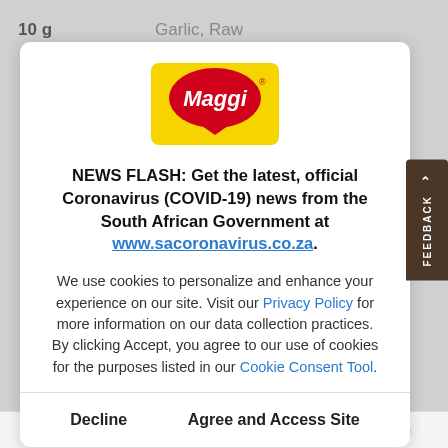10 g   Garlic, Raw
[Figure (logo): MAGGI logo — yellow rectangular background with red speech-bubble shape containing white italic text 'Maggi']
NEWS FLASH: Get the latest, official Coronavirus (COVID-19) news from the South African Government at www.sacoronavirus.co.za.
We use cookies to personalize and enhance your experience on our site. Visit our Privacy Policy for more information on our data collection practices. By clicking Accept, you agree to our use of cookies for the purposes listed in our Cookie Consent Tool.
Decline   Agree and Access Site
Recipes   MAGGI   Promotions   Search   Login